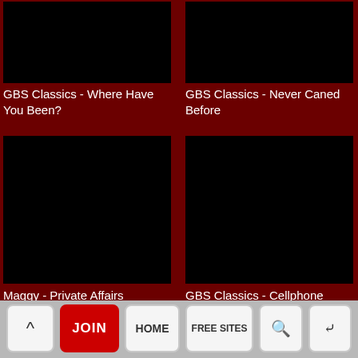[Figure (screenshot): Black thumbnail image for GBS Classics - Where Have You Been?]
GBS Classics - Where Have You Been?
[Figure (screenshot): Black thumbnail image for GBS Classics - Never Caned Before]
GBS Classics - Never Caned Before
[Figure (screenshot): Black thumbnail image for Maggy - Private Affairs]
Maggy - Private Affairs
[Figure (screenshot): Black thumbnail image for GBS Classics - Cellphone Trouble For Roseanna]
GBS Classics - Cellphone Trouble For Roseanna
[Figure (screenshot): Black thumbnail image bottom left (partial)]
[Figure (screenshot): Black thumbnail image bottom right (partial)]
▲  JOIN  HOME  FREE SITES  🔍  ⋮